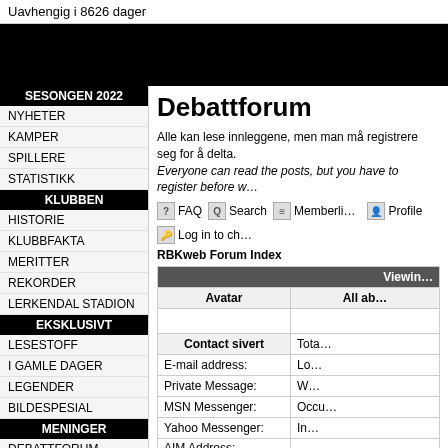Uavhengig i 8626 dager
[Figure (other): Black banner/advertisement area]
SESONGEN 2022
NYHETER
KAMPER
SPILLERE
STATISTIKK
KLUBBEN
HISTORIE
KLUBBFAKTA
MERITTER
REKORDER
LERKENDAL STADION
EKSKLUSIVT
LESESTOFF
I GAMLE DAGER
LEGENDER
BILDESPESIAL
MENINGER
DEBATTFORUM
KOMMENTAR
DIN MENING
RBKweb
OM RBKweb
ANNONSEINFORMASJON
RSS-KANAL
Debattforum
Alle kan lese innleggene, men man må registrere seg for å delta. Everyone can read the posts, but you have to register before w…
FAQ  Search  Memberli…  Profile  Log in to ch…
RBKweb Forum Index
| Avatar | All ab… | Viewin… |
| --- | --- | --- |
|  |  |  |
| Contact sivert | Tota… |  |
| E-mail address: | Lo… |  |
| Private Message: | W… |  |
| MSN Messenger: | Occu… |  |
| Yahoo Messenger: | In… |  |
| AIM Address: |  |  |